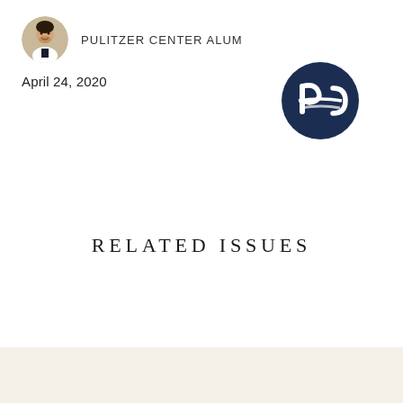[Figure (photo): Circular cropped headshot of a man in a suit, smiling]
PULITZER CENTER ALUM
April 24, 2020
[Figure (logo): Pulitzer Center circular logo in dark navy blue with stylized P and C letterforms]
RELATED ISSUES